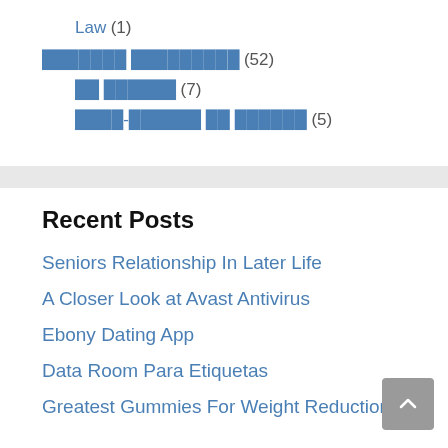Law (1)
███████ █████████ (52)
██ ██████ (7)
████-██████ ██ ██████ (5)
Recent Posts
Seniors Relationship In Later Life
A Closer Look at Avast Antivirus
Ebony Dating App
Data Room Para Etiquetas
Greatest Gummies For Weight Reduction